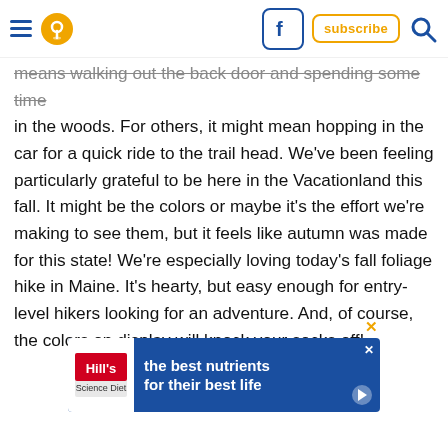Navigation header with hamburger menu, location pin icon, Facebook icon, subscribe button, search icon
means walking out the back door and spending some time in the woods. For others, it might mean hopping in the car for a quick ride to the trail head. We've been feeling particularly grateful to be here in the Vacationland this fall. It might be the colors or maybe it's the effort we're making to see them, but it feels like autumn was made for this state! We're especially loving today's fall foliage hike in Maine. It's hearty, but easy enough for entry-level hikers looking for an adventure. And, of course, the colors on display will knock your socks off!
[Figure (screenshot): Hill's pet food advertisement banner: blue background with Hill's logo on left, text 'the best nutrients for their best life' in white bold font, close X button top right, play button bottom right.]